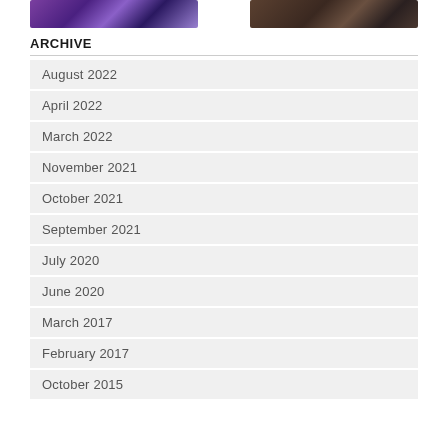[Figure (photo): Two thumbnail images side by side at the top of the page — left image shows colorful purple/blue tones, right image shows dark brown tones of a person]
ARCHIVE
August 2022
April 2022
March 2022
November 2021
October 2021
September 2021
July 2020
June 2020
March 2017
February 2017
October 2015